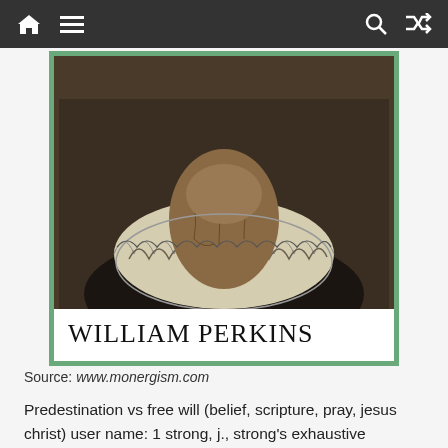Navigation bar with home, menu, search, and shuffle icons
[Figure (photo): Partial view of a William Perkins book cover showing a portrait (bearded man with ruffled collar) and the text WILLIAM PERKINS, framed with a green border]
Source: www.monergism.com
Predestination vs free will (belief, scripture, pray, jesus christ) user name: 1 strong, j., strong's exhaustive concordance of the bible, electronic ed., ontario: